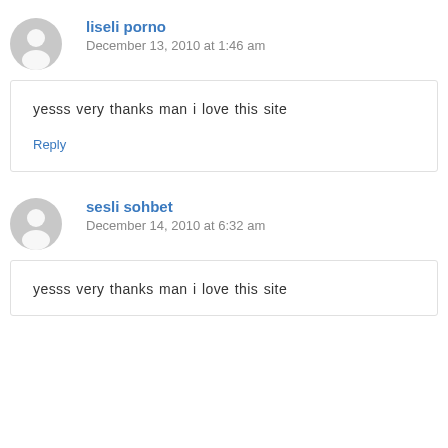liseli porno
December 13, 2010 at 1:46 am
yesss very thanks man i love this site
Reply
sesli sohbet
December 14, 2010 at 6:32 am
yesss very thanks man i love this site